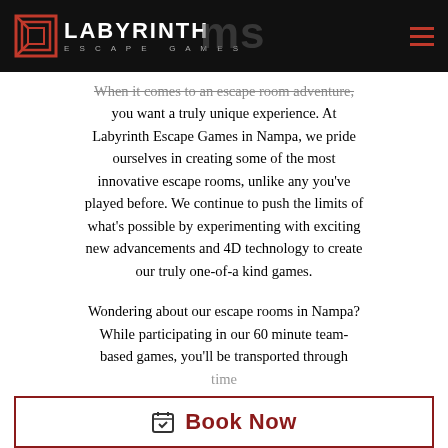Labyrinth Escape Games - header with logo and navigation
When it comes to an escape room adventure, you want a truly unique experience. At Labyrinth Escape Games in Nampa, we pride ourselves in creating some of the most innovative escape rooms, unlike any you've played before. We continue to push the limits of what's possible by experimenting with exciting new advancements and 4D technology to create our truly one-of-a kind games.
Wondering about our escape rooms in Nampa? While participating in our 60 minute team-based games, you'll be transported through time, exciting enter secret compartments and high-tech surprises as you make your way through each adventure. The
[Figure (other): Book Now button with calendar icon and dark red border]